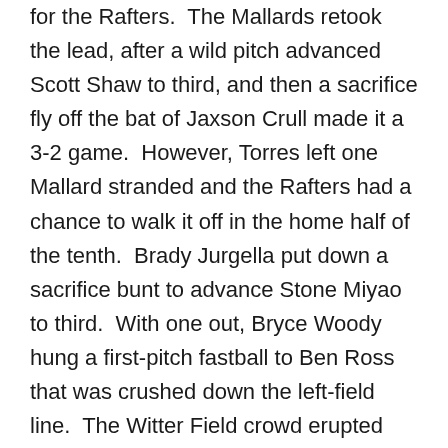for the Rafters.  The Mallards retook the lead, after a wild pitch advanced Scott Shaw to third, and then a sacrifice fly off the bat of Jaxson Crull made it a 3-2 game.  However, Torres left one Mallard stranded and the Rafters had a chance to walk it off in the home half of the tenth.  Brady Jurgella put down a sacrifice bunt to advance Stone Miyao to third.  With one out, Bryce Woody hung a first-pitch fastball to Ben Ross that was crushed down the left-field line.  The Witter Field crowd erupted into a frenzy, but the ball was ruled foul just moments after Ross rounded first.  Ross would be retired for out number two.  Down to their final out, Brendan Bobo was hit by a pitch.  He stole second on the second pitch of the at-bat against Jacob Igawa.